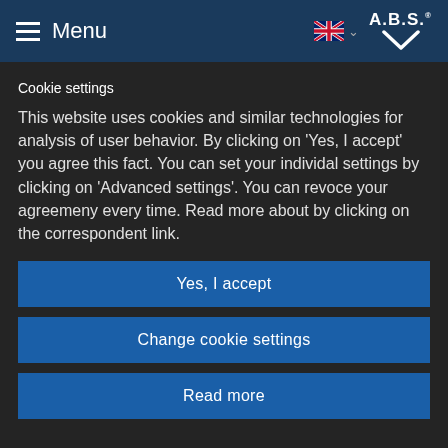Menu
Cookie settings
This website uses cookies and similar technologies for analysis of user behavior. By clicking on 'Yes, I accept' you agree this fact. You can set your individal settings by clicking on 'Advanced settings'. You can revoce your agreemeny every time. Read more about by clicking on the correspondent link.
Yes, I accept
Change cookie settings
Read more